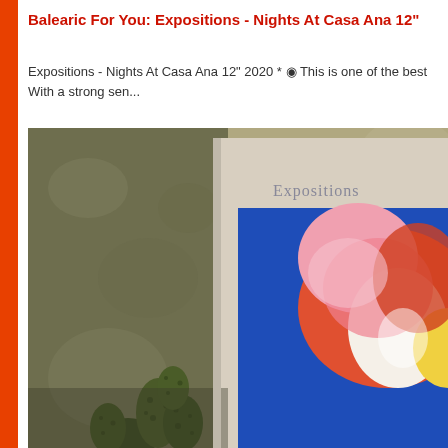Balearic For You: Expositions - Nights At Casa Ana 12"
Expositions - Nights At Casa Ana 12" 2020 * ◉ This is one of the best With a strong sen...
[Figure (photo): Close-up photo of a vinyl record album cover leaning against a textured wall. The album cover shows 'Expositions' text and colorful artwork with pink, orange, red flowers on a blue background, with a cactus plant in the foreground.]